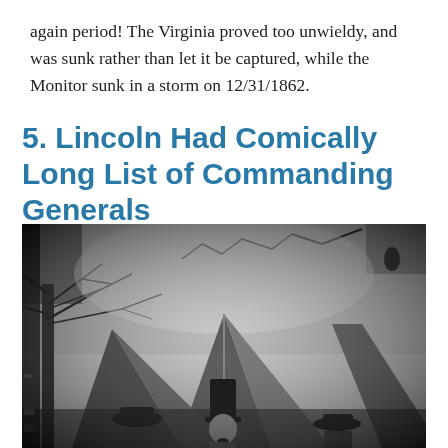again period! The Virginia proved too unwieldy, and was sunk rather than let it be captured, while the Monitor sunk in a storm on 12/31/1862.
5. Lincoln Had Comically Long List of Commanding Generals
[Figure (photo): Black and white historical photograph showing three men in Civil War era clothing and top hats standing near military tents, with trees in the background. Believed to be Abraham Lincoln (center, in tall stovepipe hat) at a military camp.]